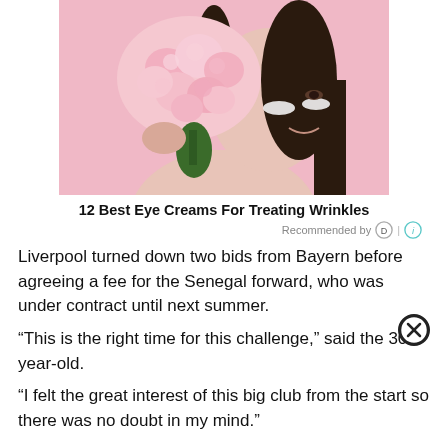[Figure (photo): A woman holding a large pink hydrangea flower in front of part of her face, against a pink background. She appears to be smiling and has dark hair. There are white patches under her eyes.]
12 Best Eye Creams For Treating Wrinkles
Recommended by [D] | [i]
Liverpool turned down two bids from Bayern before agreeing a fee for the Senegal forward, who was under contract until next summer.
“This is the right time for this challenge,” said the 30-year-old.
“I felt the great interest of this big club from the start so there was no doubt in my mind.”